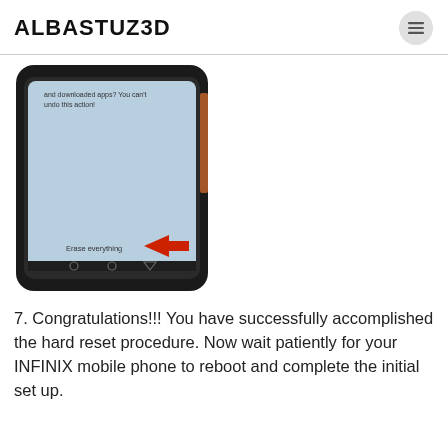ALBASTUZ3D
[Figure (photo): Photo of an Android smartphone screen showing a hard reset confirmation screen with a red arrow pointing left to the 'Erase everything' button at the bottom of the screen.]
7. Congratulations!!! You have successfully accomplished the hard reset procedure. Now wait patiently for your INFINIX mobile phone to reboot and complete the initial set up.